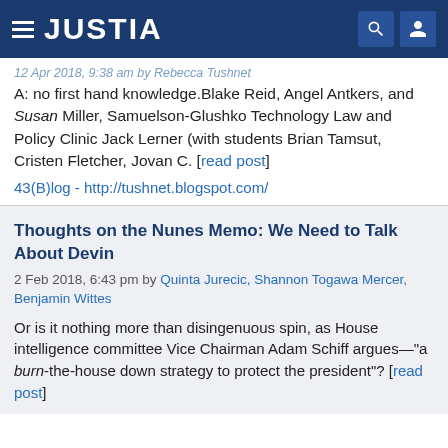JUSTIA
12 Apr 2018, 9:38 am by Rebecca Tushnet
A: no first hand knowledge.Blake Reid, Angel Antkers, and Susan Miller, Samuelson-Glushko Technology Law and Policy Clinic Jack Lerner (with students Brian Tamsut, Cristen Fletcher, Jovan C. [read post]
43(B)log - http://tushnet.blogspot.com/
Thoughts on the Nunes Memo: We Need to Talk About Devin
2 Feb 2018, 6:43 pm by Quinta Jurecic, Shannon Togawa Mercer, Benjamin Wittes
Or is it nothing more than disingenuous spin, as House intelligence committee Vice Chairman Adam Schiff argues—"a burn-the-house down strategy to protect the president"? [read post]